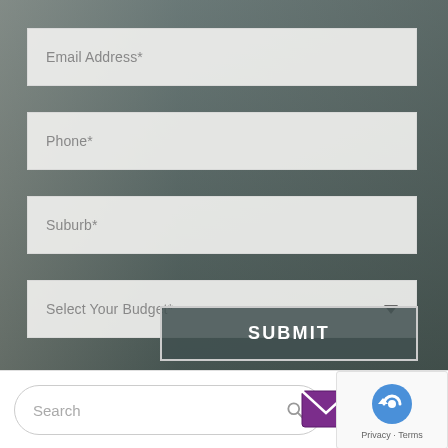[Figure (screenshot): Web form overlaid on a blurred hallway/interior background photo. Contains input fields for Email Address, Phone, Suburb, a Select Your Budget dropdown, and a SUBMIT button.]
Email Address*
Phone*
Suburb*
Select Your Budget*
SUBMIT
Search
Privacy · Terms